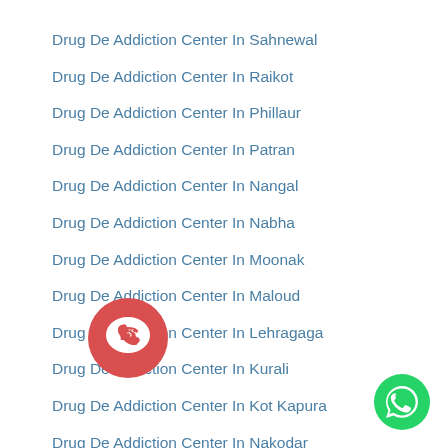Drug De Addiction Center In Sahnewal
Drug De Addiction Center In Raikot
Drug De Addiction Center In Phillaur
Drug De Addiction Center In Patran
Drug De Addiction Center In Nangal
Drug De Addiction Center In Nabha
Drug De Addiction Center In Moonak
Drug De Addiction Center In Maloud
Drug De Addiction Center In Lehragaga
Drug De Addiction Center In Kurali
Drug De Addiction Center In Kot Kapura
Drug De Addiction Center In Nakodar
Drug De Addiction Center In Kharar
[Figure (other): Red phone/call circular button overlay on left side]
[Figure (other): Green WhatsApp circular button in bottom right corner]